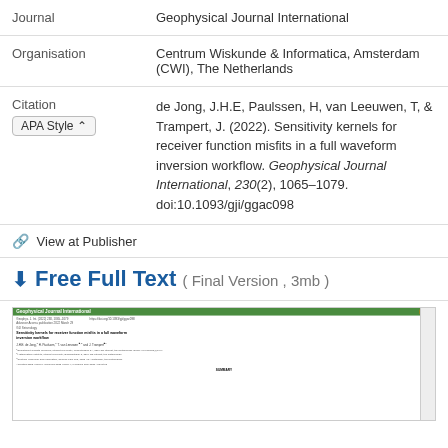| Field | Value |
| --- | --- |
| Journal | Geophysical Journal International |
| Organisation | Centrum Wiskunde & Informatica, Amsterdam (CWI), The Netherlands |
| Citation | de Jong, J.H.E, Paulssen, H, van Leeuwen, T, & Trampert, J. (2022). Sensitivity kernels for receiver function misfits in a full waveform inversion workflow. Geophysical Journal International, 230(2), 1065–1079. doi:10.1093/gji/ggac098 |
🔗 View at Publisher
⬇ Free Full Text ( Final Version , 3mb )
[Figure (screenshot): Preview thumbnail of the paper: 'Sensitivity kernels for receiver function misfits in a full waveform inversion workflow' from Geophysical Journal International, showing the green journal header, article metadata, authors (J.H.E. de Jong, H. Paulssen, T. van Leeuwen, J. Trampert), affiliations, and beginning of SUMMARY section.]